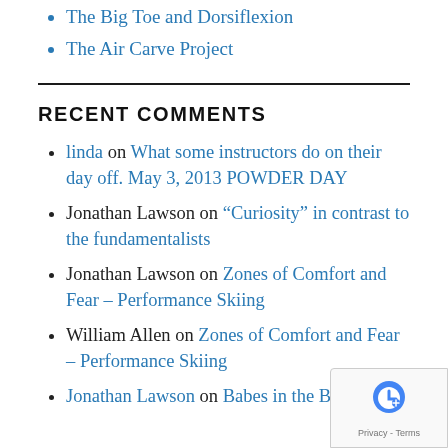The Big Toe and Dorsiflexion
The Air Carve Project
RECENT COMMENTS
linda on What some instructors do on their day off. May 3, 2013 POWDER DAY
Jonathan Lawson on “Curiosity” in contrast to the fundamentalists
Jonathan Lawson on Zones of Comfort and Fear – Performance Skiing
William Allen on Zones of Comfort and Fear – Performance Skiing
Jonathan Lawson on Babes in the Bumps